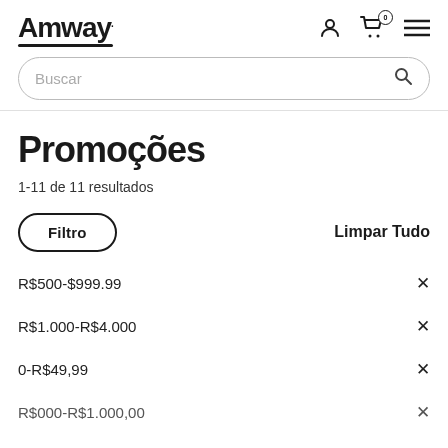Amway
Buscar
Promoções
1-11 de 11 resultados
Filtro
Limpar Tudo
R$500-$999.99 ×
R$1.000-R$4.000 ×
0-R$49,99 ×
R$000-R$1.000,00 ×